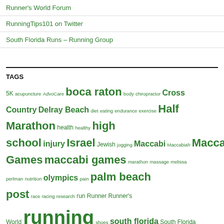Runner's World Forum
RunningTips101 on Twitter
South Florida Runs – Running Group
TAGS
5K acupuncture AdvoCare boca raton body chiropractor Cross Country Delray Beach diet eating endurance exercise Half Marathon health healthy high school injury Israel Jewish jogging Maccabi Maccabiah Maccabiah Games maccabi games marathon massage melissa perlman nutrition olympics pain palm beach post race racing research run Runner Runner's World running shoes south florida South Florida Runs Spanish River Team USA track USA